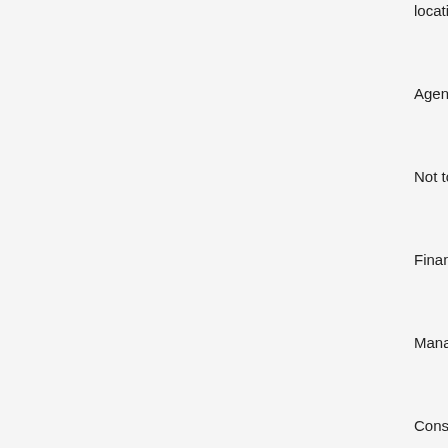locations (lis
Agenda Info
Not to excee
Financing: S
Management
Construction
| ID | Col1 | Col2 | Spacer | Type | Description |
| --- | --- | --- | --- | --- | --- |
| 22-324 | 1 | 65. |  | CONSENT AGENDA | Authorize an construction contract with for additiona associated w Rock Lake D Spillway Ma |